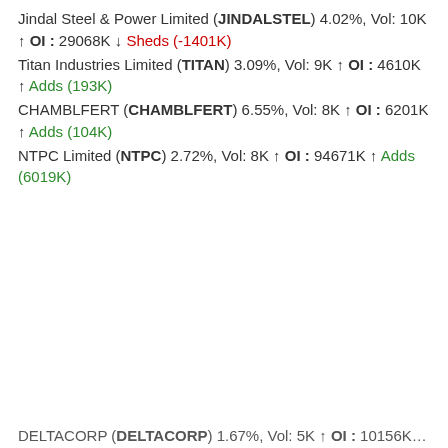Jindal Steel & Power Limited (JINDALSTEL) 4.02%, Vol: 10K ↑ OI : 29068K ↓ Sheds (-1401K)
Titan Industries Limited (TITAN) 3.09%, Vol: 9K ↑ OI : 4610K ↑ Adds (193K)
CHAMBLFERT (CHAMBLFERT) 6.55%, Vol: 8K ↑ OI : 6201K ↑ Adds (104K)
NTPC Limited (NTPC) 2.72%, Vol: 8K ↑ OI : 94671K ↑ Adds (6019K)
DELTACORP (DELTACORP) 1.67%, Vol: 5K ↑ OI : 10156K ↑ Add...